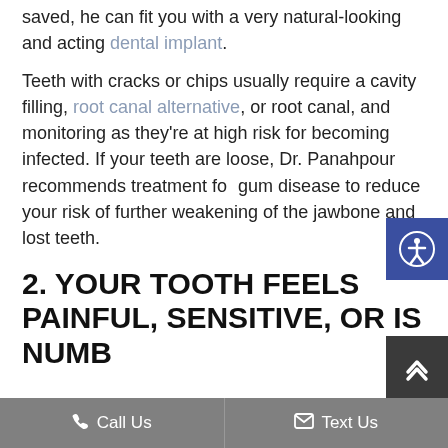saved, he can fit you with a very natural-looking and acting dental implant.
Teeth with cracks or chips usually require a cavity filling, root canal alternative, or root canal, and monitoring as they're at high risk for becoming infected. If your teeth are loose, Dr. Panahpour recommends treatment for gum disease to reduce your risk of further weakening of the jawbone and lost teeth.
2. YOUR TOOTH FEELS PAINFUL, SENSITIVE, OR IS NUMB
Call Us   Text Us